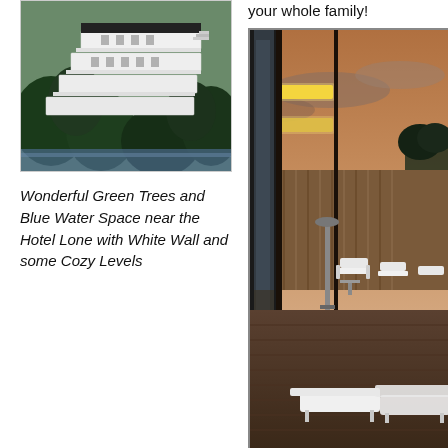[Figure (photo): Aerial or elevated exterior view of Hotel Lone with white stepped/cantilevered levels surrounded by green trees, with blue water visible]
Wonderful Green Trees and Blue Water Space near the Hotel Lone with White Wall and some Cozy Levels
your whole family!
[Figure (photo): Outdoor terrace/patio of a hotel at dusk with glass facade, yellow accent lighting on building exterior, wooden fence, white lounge chairs on a terrace, dramatic sunset sky]